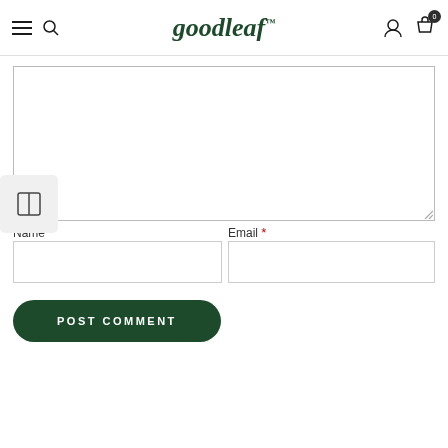goodleaf
[Figure (screenshot): Goodleaf website comment form with textarea, Name and Email fields, and POST COMMENT button]
Name *
Email *
POST COMMENT